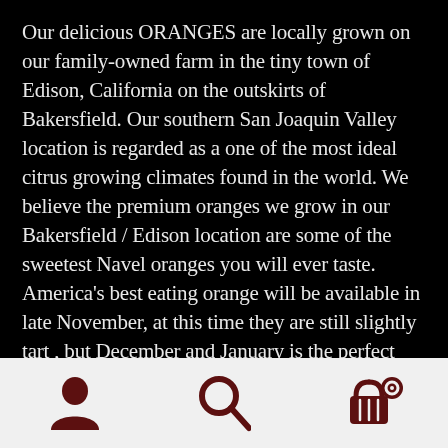Our delicious ORANGES are locally grown on our family-owned farm in the tiny town of Edison, California on the outskirts of Bakersfield. Our southern San Joaquin Valley location is regarded as a one of the most ideal citrus growing climates found in the world. We believe the premium oranges we grow in our Bakersfield / Edison location are some of the sweetest Navel oranges you will ever taste. America's best eating orange will be available in late November, at this time they are still slightly tart , but December and January is the perfect time for our juicy navel oranges, continuing into April/May. Each beautifully polished piece of fruit is inspected at least five times, then carefully hand-packed into our beautiful, sturdy, greetings box, protecting it until it reaches your front door. Don't be satisfied with ordinary 30 day old supermarket fruit, or so
[Figure (other): Bottom navigation bar with three icons: user/account icon on the left, search magnifying glass icon in the center, and shopping cart with badge icon on the right. Dark red/maroon color on light gray background.]